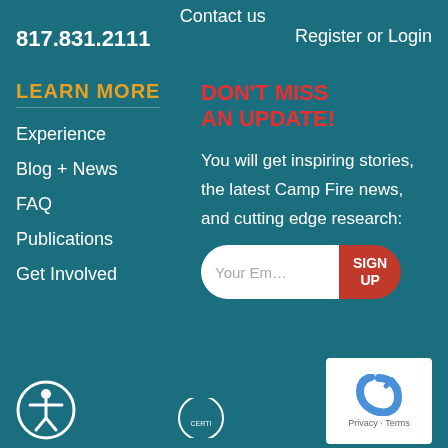Contact us
817.831.2111
Register or Login
LEARN MORE
Experience
Blog + News
FAQ
Publications
Get Involved
DON'T MISS AN UPDATE!
You will get inspiring stories, the latest Camp Fire news, and cutting edge research:
[Figure (other): Email signup form with input field labeled 'Your Em...' and a red SIGN UP button]
[Figure (other): Accessibility icon - person in circle]
[Figure (other): reCAPTCHA widget showing Privacy - Terms]
[Figure (other): Certification badge (partially visible)]